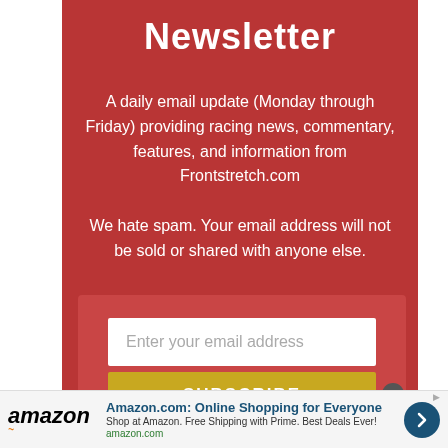Newsletter
A daily email update (Monday through Friday) providing racing news, commentary, features, and information from Frontstretch.com We hate spam. Your email address will not be sold or shared with anyone else.
[Figure (screenshot): Email subscription form with text input placeholder 'Enter your email address' and a yellow SUBSCRIBE button]
[Figure (infographic): Amazon advertisement banner: 'Amazon.com: Online Shopping for Everyone' with 'Shop at Amazon. Free Shipping with Prime. Best Deals Ever!' and amazon.com domain, amazon logo, and blue arrow button]